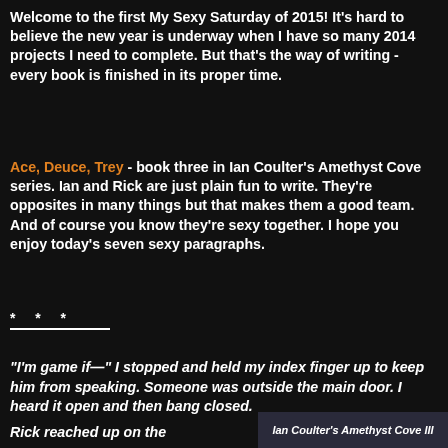Welcome to the first My Sexy Saturday of 2015! It's hard to believe the new year is underway when I have so many 2014 projects I need to complete. But that's the way of writing - every book is finished in its proper time.
Ace, Deuce, Trey - book three in Ian Coulter's Amethyst Cove series. Ian and Rick are just plain fun to write. They're opposites in many things but that makes them a good team. And of course you know they're sexy together. I hope you enjoy today's seven sexy paragraphs.
*  *  *
“I’m game if—” I stopped and held my index finger up to keep him from speaking. Someone was outside the main door. I heard it open and then bang closed.
Rick reached up on the
Ian Coulter’s Amethyst Cove III